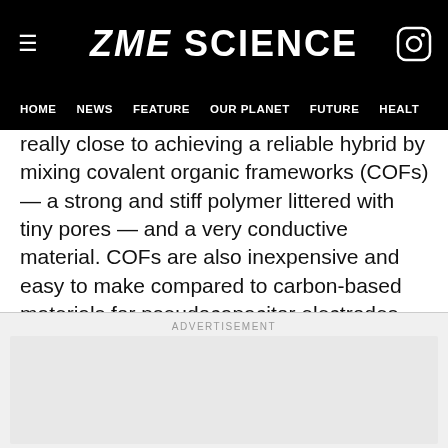ZME SCIENCE
HOME NEWS FEATURE OUR PLANET FUTURE HEALT
really close to achieving a reliable hybrid by mixing covalent organic frameworks (COFs) — a strong and stiff polymer littered with tiny pores — and a very conductive material. COFs are also inexpensive and easy to make compared to carbon-based materials for pseudocapacitor electrodes.
ADVERTISEMENT